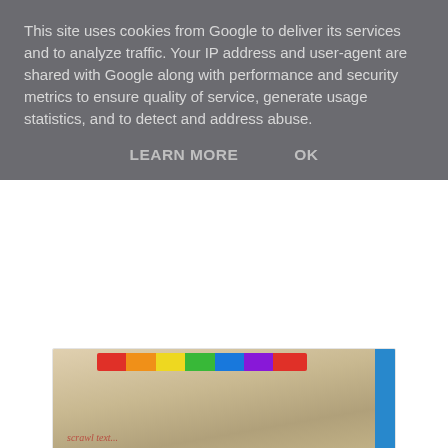This site uses cookies from Google to deliver its services and to analyze traffic. Your IP address and user-agent are shared with Google along with performance and security metrics to ensure quality of service, generate usage statistics, and to detect and address abuse.
LEARN MORE    OK
[Figure (photo): Partial view of a colorful storage box or book with rainbow strip on top and blue spine, sitting on a patterned surface]
I had seen at The Works a few weeks ago that they were selling adorable but ideally sized storage boxes at two for £10 (or £6.99 each) and once I saw the Beatrix Potter box I was sold! I love reading children's stories (Peter Pan and Treasure Island and Winnie the Pooh easily being my favourites) and this was the perfect box to fit in my room and to store my (mountains of) yarn. And who didn't grow up with The Very Hungry Caterpillar?
[Figure (photo): Partial photo of a room or object, cropped at bottom of page]